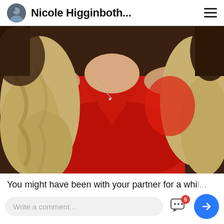Nicole Higginboth...
[Figure (photo): Close-up photo of a woman with long blonde wavy hair wearing a red long-sleeve dress, cropped at the shoulders/chest area, warm indoor background]
You might have been with your partner for a whil...
Write a comment...